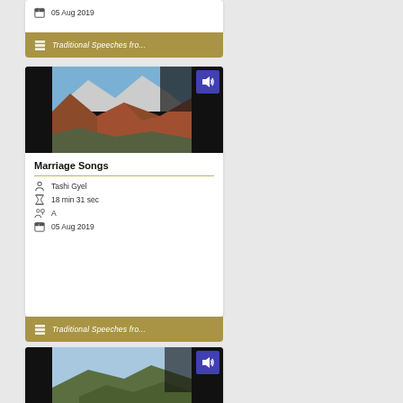05 Aug 2019
Traditional Speeches fro...
[Figure (photo): Mountain landscape with red/brown rock formations and snowy peaks under blue sky, with audio icon overlay]
Marriage Songs
Tashi Gyel
18 min 31 sec
A
05 Aug 2019
Traditional Speeches fro...
[Figure (photo): Mountain valley landscape with green hills and lake, with audio icon overlay]
Religious Dance